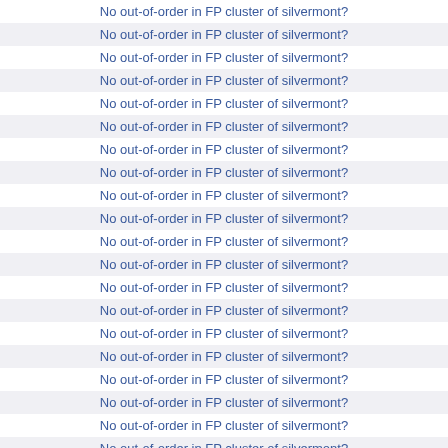No out-of-order in FP cluster of silvermont?
No out-of-order in FP cluster of silvermont?
No out-of-order in FP cluster of silvermont?
No out-of-order in FP cluster of silvermont?
No out-of-order in FP cluster of silvermont?
No out-of-order in FP cluster of silvermont?
No out-of-order in FP cluster of silvermont?
No out-of-order in FP cluster of silvermont?
No out-of-order in FP cluster of silvermont?
No out-of-order in FP cluster of silvermont?
No out-of-order in FP cluster of silvermont?
No out-of-order in FP cluster of silvermont?
No out-of-order in FP cluster of silvermont?
No out-of-order in FP cluster of silvermont?
No out-of-order in FP cluster of silvermont?
No out-of-order in FP cluster of silvermont?
No out-of-order in FP cluster of silvermont?
No out-of-order in FP cluster of silvermont?
No out-of-order in FP cluster of silvermont?
No out-of-order in FP cluster of silvermont?
No out-of-order in FP cluster of silvermont?
No out-of-order in FP cluster of silvermont?
layer 2 cache behaviour
layer 2 cache behaviour